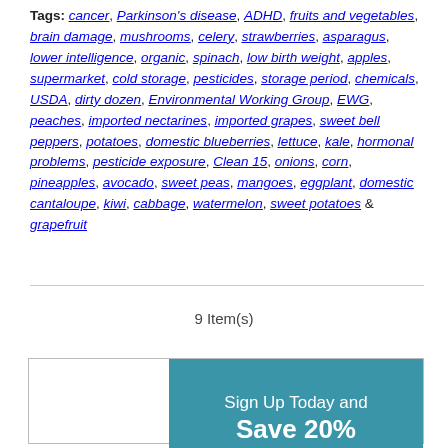Tags: cancer, Parkinson's disease, ADHD, fruits and vegetables, brain damage, mushrooms, celery, strawberries, asparagus, lower intelligence, organic, spinach, low birth weight, apples, supermarket, cold storage, pesticides, storage period, chemicals, USDA, dirty dozen, Environmental Working Group, EWG, peaches, imported nectarines, imported grapes, sweet bell peppers, potatoes, domestic blueberries, lettuce, kale, hormonal problems, pesticide exposure, Clean 15, onions, corn, pineapples, avocado, sweet peas, mangoes, eggplant, domestic cantaloupe, kiwi, cabbage, watermelon, sweet potatoes & grapefruit
9 Item(s)
[Figure (infographic): Promotional banner with teal background saying 'Sign Up Today and Save 20%' followed by text: Take 20% OFF your order when you sign up to receive our email. Be the first to hear about:]